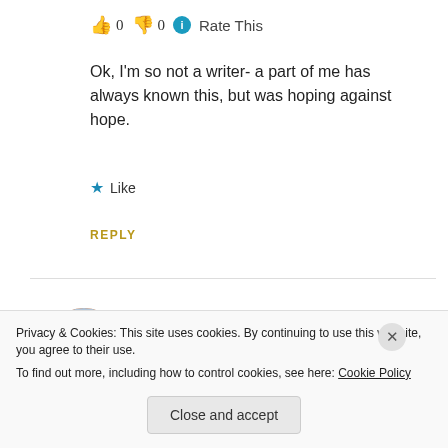👍 0 👎 0 ℹ Rate This
Ok, I'm so not a writer- a part of me has always known this, but was hoping against hope.
★ Like
REPLY
[Figure (photo): Circular avatar photo of pauljennynyc showing a child wearing glasses]
pauljennynyc
Privacy & Cookies: This site uses cookies. By continuing to use this website, you agree to their use.
To find out more, including how to control cookies, see here: Cookie Policy
Close and accept